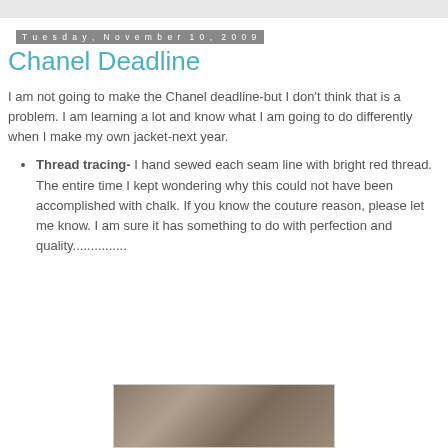Tuesday, November 10, 2009
Chanel Deadline
I am not going to make the Chanel deadline-but I don't think that is a problem. I am learning a lot and know what I am going to do differently when I make my own jacket-next year.
Thread tracing- I hand sewed each seam line with bright red thread. The entire time I kept wondering why this could not have been accomplished with chalk. If you know the couture reason, please let me know. I am sure it has something to do with perfection and quality...............
[Figure (photo): Photograph of fabric or sewing material, partially visible at bottom of page]